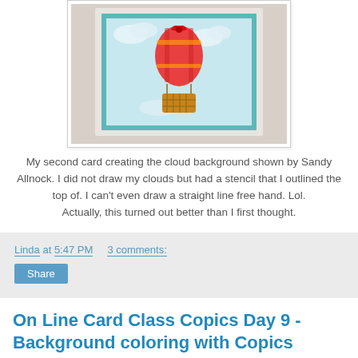[Figure (photo): A handmade greeting card with a hot air balloon and cloud background, shown propped up against a surface. The card features a colorful hot air balloon with a red bow and a basket, set against a light blue cloudy sky background with a teal border.]
My second card creating the cloud background shown by Sandy Allnock.  I did not draw my clouds but had a stencil that I outlined the top of.  I can't even draw a straight line free hand.  Lol.
Actually, this turned out better than I first thought.
Linda at 5:47 PM    3 comments:
Share
On Line Card Class Copics Day 9 - Background coloring with Copics